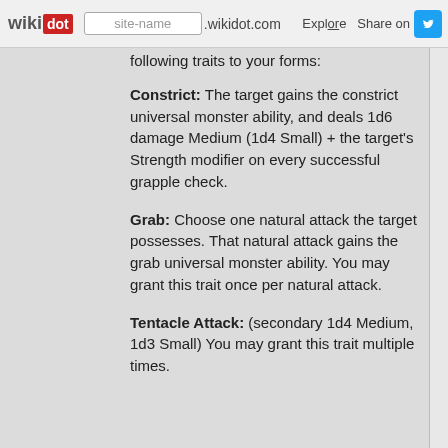wikidot | site-name .wikidot.com | Explore | Share on
following traits to your forms:
Constrict: The target gains the constrict universal monster ability, and deals 1d6 damage Medium (1d4 Small) + the target's Strength modifier on every successful grapple check.
Grab: Choose one natural attack the target possesses. That natural attack gains the grab universal monster ability. You may grant this trait once per natural attack.
Tentacle Attack: (secondary 1d4 Medium, 1d3 Small) You may grant this trait multiple times.